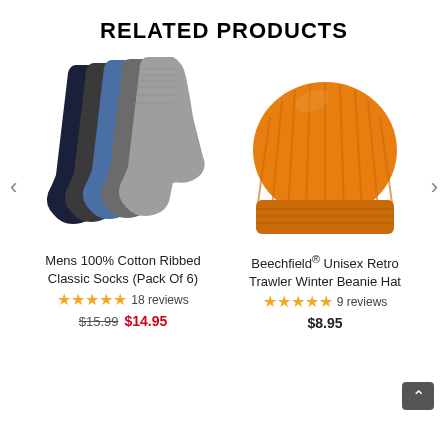RELATED PRODUCTS
[Figure (photo): Five pairs of mens ribbed cotton socks fanned out, in navy, dark grey, blue, and light grey colors]
Mens 100% Cotton Ribbed Classic Socks (Pack Of 6)
★★★★★ 18 reviews
$15.99  $14.95
[Figure (photo): Beechfield orange ribbed knit winter beanie hat shown from the front]
Beechfield® Unisex Retro Trawler Winter Beanie Hat
★★★★★ 9 reviews
$8.95